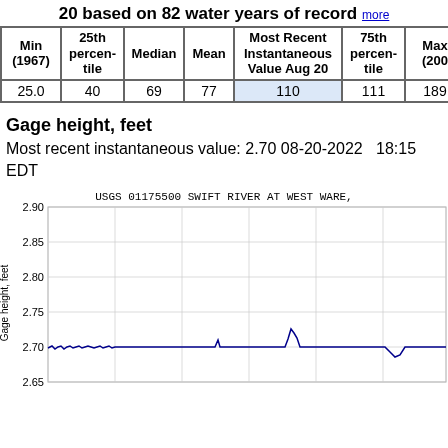20 based on 82 water years of record more
| Min (1967) | 25th percen-tile | Median | Mean | Most Recent Instantaneous Value Aug 20 | 75th percen-tile | Max (200 |
| --- | --- | --- | --- | --- | --- | --- |
| 25.0 | 40 | 69 | 77 | 110 | 111 | 189 |
Gage height, feet
Most recent instantaneous value: 2.70 08-20-2022   18:15 EDT
[Figure (continuous-plot): Line chart of gage height in feet over time. Y-axis ranges from approximately 2.60 to 2.90 feet. The line fluctuates around 2.70 feet with small spikes.]